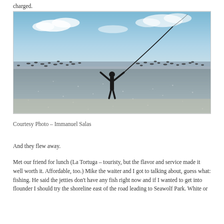charged.
[Figure (photo): A person standing on a wet beach with arms raised, a fishing rod arcing overhead, and a large flock of birds flying low above the water in the background. Blue sky with clouds above.]
Courtesy Photo – Immanuel Salas
And they flew away.
Met our friend for lunch (La Tortuga – touristy, but the flavor and service made it well worth it. Affordable, too.) Mike the waiter and I got to talking about, guess what: fishing. He said the jetties don't have any fish right now and if I wanted to get into flounder I should try the shoreline east of the road leading to Seawolf Park. White or